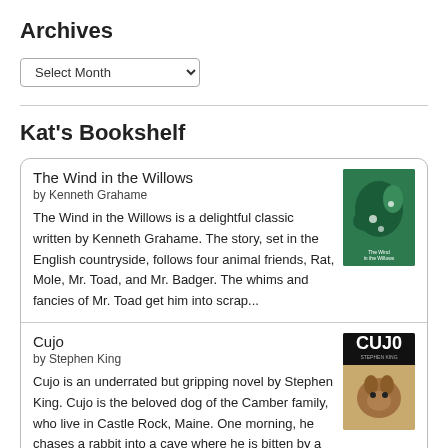Archives
Select Month
Kat's Bookshelf
The Wind in the Willows
by Kenneth Grahame
The Wind in the Willows is a delightful classic written by Kenneth Grahame. The story, set in the English countryside, follows four animal friends, Rat, Mole, Mr. Toad, and Mr. Badger. The whims and fancies of Mr. Toad get him into scrap...
Cujo
by Stephen King
Cujo is an underrated but gripping novel by Stephen King. Cujo is the beloved dog of the Camber family, who live in Castle Rock, Maine. One morning, he chases a rabbit into a cave where he is bitten by a sick bat. Unfortunately, that one...